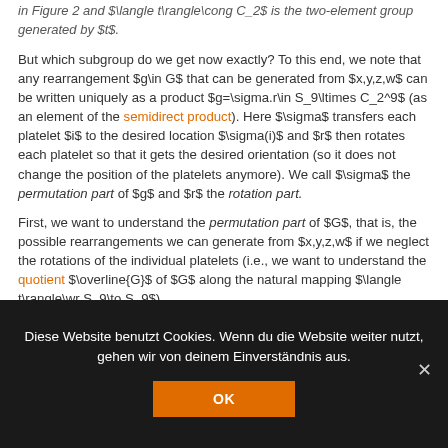in Figure 2 and $\langle t\rangle\cong C_2$ is the two-element group generated by $t$.
But which subgroup do we get now exactly? To this end, we note that any rearrangement $g\in G$ that can be generated from $x,y,z,w$ can be written uniquely as a product $g=\sigma.r\in S_9\ltimes C_2^9$ (as an element of the semidirect product). Here $\sigma$ transfers each platelet $i$ to the desired location $\sigma(i)$ and $r$ then rotates each platelet so that it gets the desired orientation (so it does not change the position of the platelets anymore). We call $\sigma$ the permutation part of $g$ and $r$ the rotation part.
First, we want to understand the permutation part of $G$, that is, the possible rearrangements we can generate from $x,y,z,w$ if we neglect the rotations of the individual platelets (i.e., we want to understand the quotient $\overline{G}$ of $G$ along the natural mapping $\langle t\rangle\wr S_9\to S_9$).
Diese Website benutzt Cookies. Wenn du die Website weiter nutzt, gehen wir von deinem Einverständnis aus.